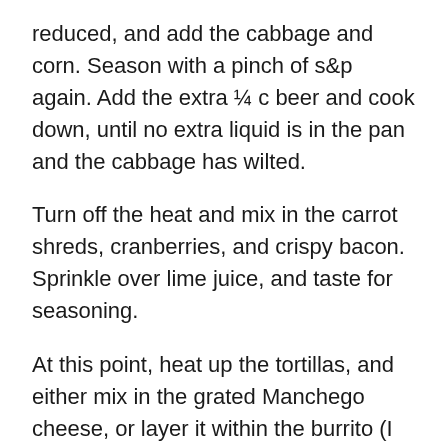reduced, and add the cabbage and corn.  Season with a pinch of s&p again.  Add the extra ¼ c beer and cook down, until no extra liquid is in the pan and the cabbage has wilted.
Turn off the heat and mix in the carrot shreds, cranberries, and crispy bacon.  Sprinkle over lime juice, and taste for seasoning.
At this point, heat up the tortillas, and either mix in the grated Manchego cheese, or layer it within the burrito (I like to layer it in rather than mix together – it keeps different textures alive within the burrito).
To fry the egg, pour a dash of olive oil into a non-stick pan, and crack in the egg.  Season with s&p, and leave be to cook over high heat, and then flip when the edges start to